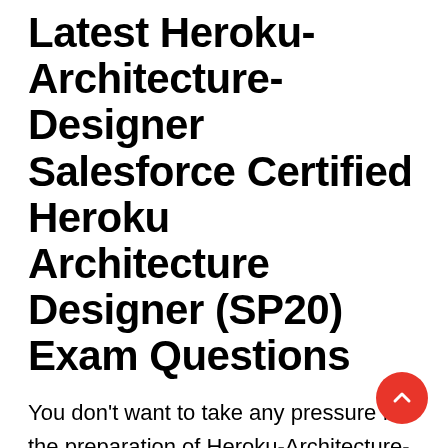Latest Heroku-Architecture-Designer Salesforce Certified Heroku Architecture Designer (SP20) Exam Questions
You don't want to take any pressure for the preparation of Heroku-Architecture-Designer Salesforce Certified Heroku Architecture Designer (SP20) exam due to the fact CertificationsTime provides you with actual PDF exam questions and solutions. CertificationsTime presents you assured achievement in Heroku